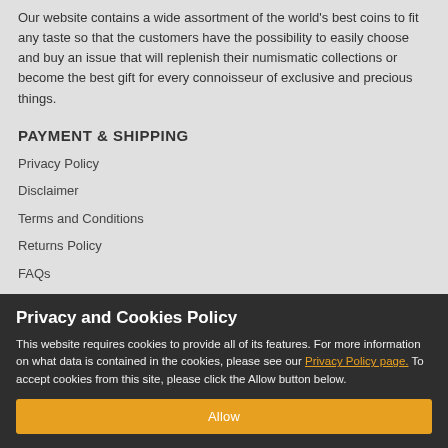Our website contains a wide assortment of the world's best coins to fit any taste so that the customers have the possibility to easily choose and buy an issue that will replenish their numismatic collections or become the best gift for every connoisseur of exclusive and precious things.
PAYMENT & SHIPPING
Privacy Policy
Disclaimer
Terms and Conditions
Returns Policy
FAQs
Imprint
CONTACT US
Privacy and Cookies Policy
This website requires cookies to provide all of its features. For more information on what data is contained in the cookies, please see our Privacy Policy page. To accept cookies from this site, please click the Allow button below.